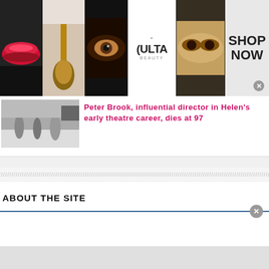[Figure (photo): ULTA Beauty advertisement banner with makeup images: lips, brush, eye, ULTA logo, dramatic eye makeup, and SHOP NOW call-to-action button]
[Figure (photo): Black and white thumbnail photo of people outdoors]
Peter Brook, influential director in Helen's early theatre career, dies at 97
ABOUT THE SITE
The Helen Mirren Archives is a non-profit fansite and is not affiliated with Ms. Mirren herself or her management in any way. The cause of this website is to represent the work of Noomi Rapace in an accurate and up-to-date version for fans all over the world. I do not claim ownership for any information or material published on this